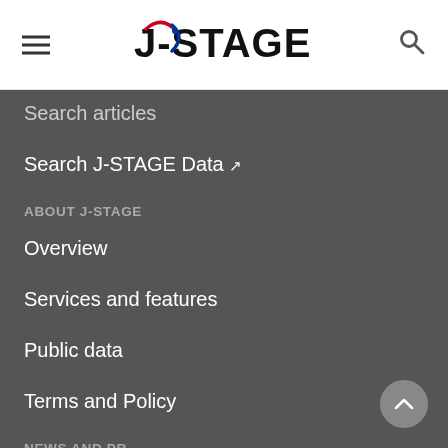J-STAGE navigation header with hamburger menu and search icon
Search articles
Search J-STAGE Data ↗
ABOUT J-STAGE
Overview
Services and features
Public data
Terms and Policy
NEWS AND PR
News
Maintenance information
Special contents